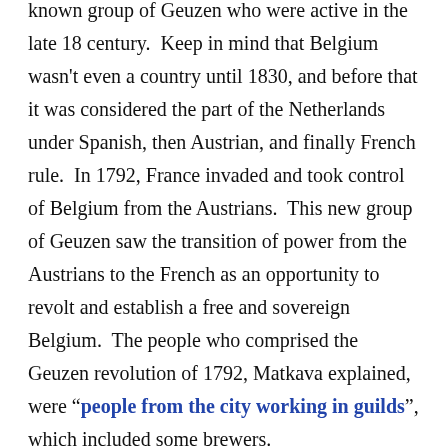known group of Geuzen who were active in the late 18 century. Keep in mind that Belgium wasn't even a country until 1830, and before that it was considered the part of the Netherlands under Spanish, then Austrian, and finally French rule. In 1792, France invaded and took control of Belgium from the Austrians. This new group of Geuzen saw the transition of power from the Austrians to the French as an opportunity to revolt and establish a free and sovereign Belgium. The people who comprised the Geuzen revolution of 1792, Matkava explained, were “people from the city working in guilds”, which included some brewers.
Alas, this little known mini-revolution failed, but it could be, as Matkava suggested, “that the term Gueuze was given to define the beer from the Gueux… But it seems that the